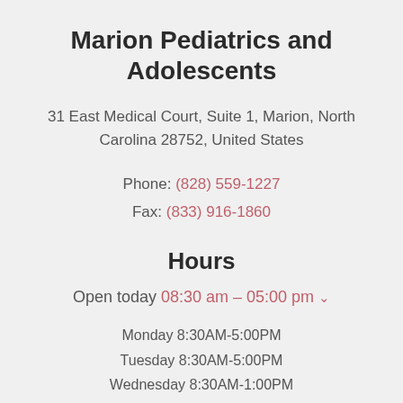Marion Pediatrics and Adolescents
31 East Medical Court, Suite 1, Marion, North Carolina 28752, United States
Phone: (828) 559-1227
Fax: (833) 916-1860
Hours
Open today 08:30 am – 05:00 pm ˅
Monday 8:30AM-5:00PM
Tuesday 8:30AM-5:00PM
Wednesday 8:30AM-1:00PM
Thursday 8:30AM-5:00PM